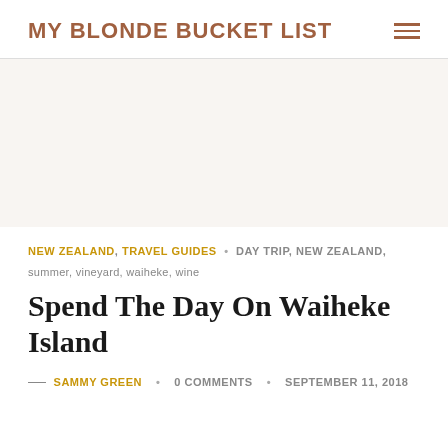MY BLONDE BUCKET LIST
[Figure (other): Empty hero/banner image area, light beige/white background]
NEW ZEALAND, TRAVEL GUIDES • day trip, new zealand, summer, vineyard, waiheke, wine
Spend The Day On Waiheke Island
— SAMMY GREEN • 0 Comments • September 11, 2018